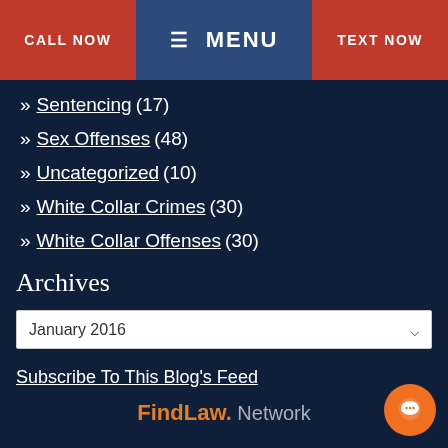CALL NOW | MENU | TEXT NOW
» Sentencing (17)
» Sex Offenses (48)
» Uncategorized (10)
» White Collar Crimes (30)
» White Collar Offenses (30)
Archives
January 2016
Subscribe To This Blog's Feed
[Figure (logo): FindLaw Network logo]